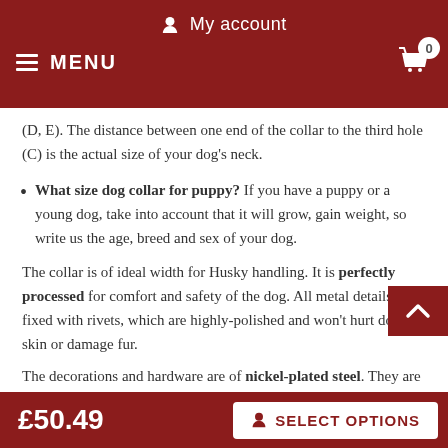My account
MENU
(D, E). The distance between one end of the collar to the third hole (C) is the actual size of your dog's neck.
What size dog collar for puppy? If you have a puppy or a young dog, take into account that it will grow, gain weight, so write us the age, breed and sex of your dog.
The collar is of ideal width for Husky handling. It is perfectly processed for comfort and safety of the dog. All metal details are fixed with rivets, which are highly-polished and won't hurt dog's skin or damage fur.
The decorations and hardware are of nickel-plated steel. They are firm, shiny and resistant to rust. The collar is easily fastened with classic buckle. A leash is quickly attached to wide D-ring.
£50.49
SELECT OPTIONS